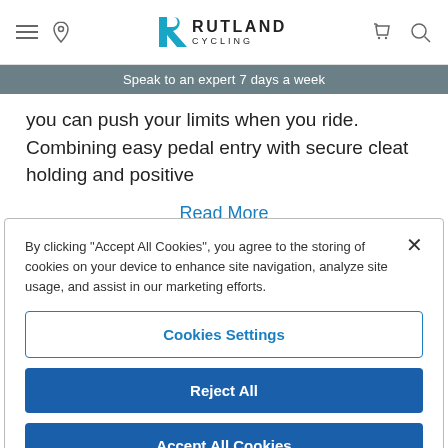[Figure (logo): Rutland Cycling logo with teal stylized R and text RUTLAND CYCLING]
Speak to an expert 7 days a week
you can push your limits when you ride. Combining easy pedal entry with secure cleat holding and positive
Read More
By clicking "Accept All Cookies", you agree to the storing of cookies on your device to enhance site navigation, analyze site usage, and assist in our marketing efforts.
Cookies Settings
Reject All
Accept All Cookies